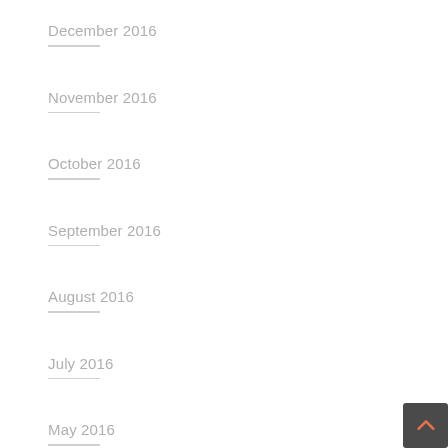December 2016
November 2016
October 2016
September 2016
August 2016
July 2016
May 2016
March 2016